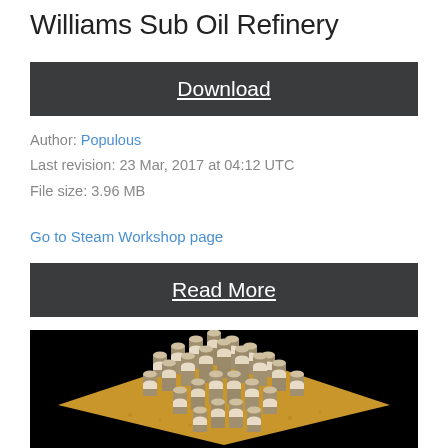Williams Sub Oil Refinery
Download
Author: Populous
Last revision: 23 Mar, 2017 at 04:12 UTC
File size: 3.96 MB
Go to Steam Workshop page
Read More
[Figure (photo): 3D render of cylindrical oil refinery structures arranged in a grid pattern on a sandy/terrain surface, viewed from an isometric angle against a black background]